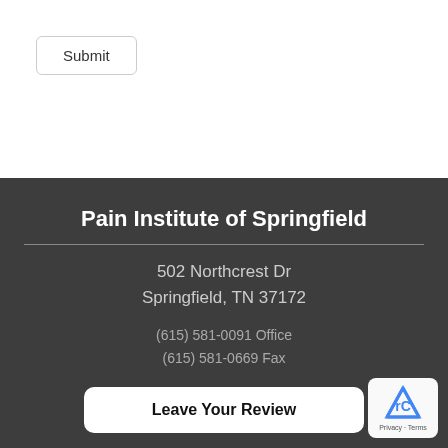Submit
Pain Institute of Springfield
502 Northcrest Dr
Springfield, TN 37172
(615) 581-0091 Office
(615) 581-0669 Fax
Leave Your Review